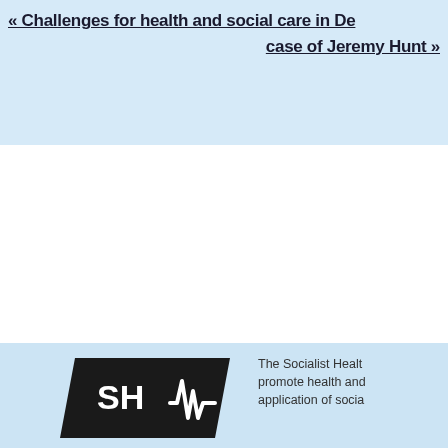« Challenges for health and social care in De...
case of Jeremy Hunt »
[Figure (logo): Socialist Health Association (SHA) logo — black parallelogram shape with white letters SHA and a heartbeat/pulse line graphic]
The Socialist Healt... promote health and... application of socia...